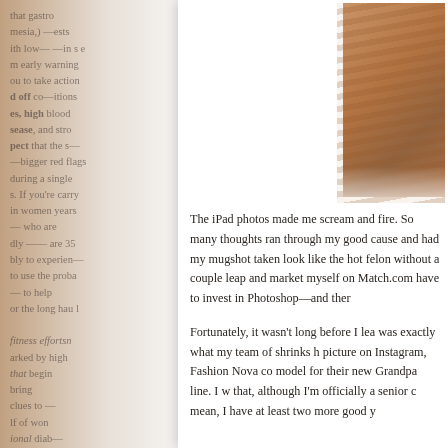[Figure (photo): Partial view of a person's face/hair, warm brown tones, shown in top-right corner of the right page]
The iPad photos made me scream and fire. So many thoughts ran through my good cause and had my mugshot taken look like the hot felon without a couple leap and market myself on Match.com have to invest in Photoshop—and ther

Fortunately, it wasn't long before I lea was exactly what my team of shrinks h picture on Instagram, Fashion Nova co model for their new Grandpa line. I w that, although I'm officially a senior c mean, I have at least two more good y